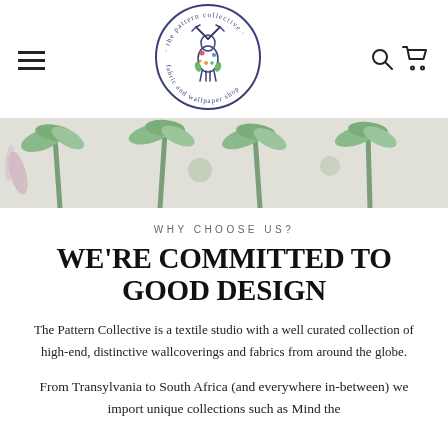[Figure (logo): The Pattern Collective circular logo with floral deer motif and text 'the pattern collective · fabric and wallpaper shop']
[Figure (photo): Hero banner with tropical palm tree wallpaper pattern in muted greens and pinks]
WHY CHOOSE US?
WE'RE COMMITTED TO GOOD DESIGN
The Pattern Collective is a textile studio with a well curated collection of high-end, distinctive wallcoverings and fabrics from around the globe.
From Transylvania to South Africa (and everywhere in-between) we import unique collections such as Mind the